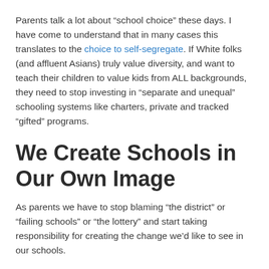Parents talk a lot about “school choice” these days. I have come to understand that in many cases this translates to the choice to self-segregate. If White folks (and affluent Asians) truly value diversity, and want to teach their children to value kids from ALL backgrounds, they need to stop investing in “separate and unequal” schooling systems like charters, private and tracked “gifted” programs.
We Create Schools in Our Own Image
As parents we have to stop blaming “the district” or “failing schools” or “the lottery” and start taking responsibility for creating the change we’d like to see in our schools.
As another San Francisco parent, Julie Phung, writes: